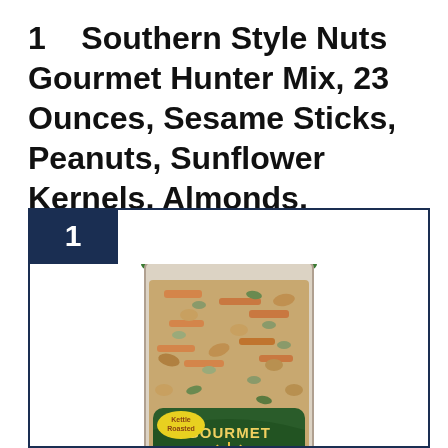1    Southern Style Nuts Gourmet Hunter Mix, 23 Ounces, Sesame Sticks, Peanuts, Sunflower Kernels, Almonds, Cashews, and Pepitas
[Figure (photo): A transparent plastic jar of Southern Style Nuts Gourmet Hunter Mix with a dark green lid, labeled 'GOURMET', 'Kettle Roasted', and 'Vegetarian', filled with a visible mix of sesame sticks, peanuts, sunflower kernels, almonds, cashews, and pepitas. The jar is shown inside a dark navy blue bordered product card with a rank badge showing '1'.]